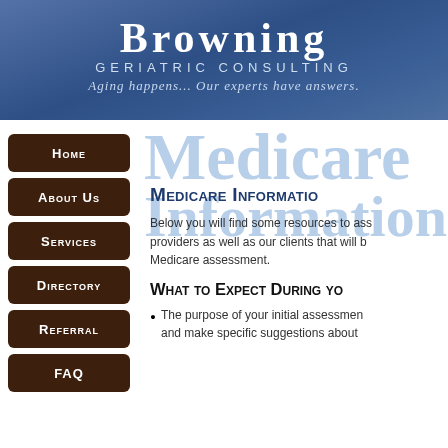BROWNING GERIATRIC CONSULTING — Aging happens... Our experts have answers.
Home
About Us
Services
Directory
Referral
FAQ
Medicare Information
Below you will find some resources to assist providers as well as our clients that will be undergoing a Medicare assessment.
What to Expect During your
The purpose of your initial assessment is to and make specific suggestions about